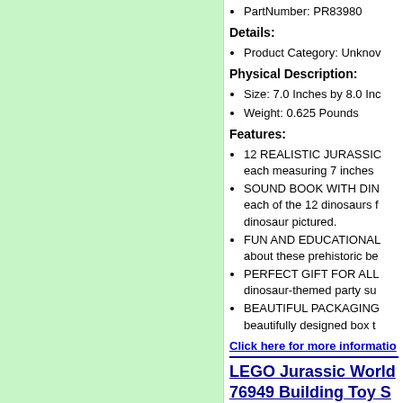PartNumber: PR83980
Details:
Product Category: Unknown
Physical Description:
Size: 7.0 Inches by 8.0 Inches
Weight: 0.625 Pounds
Features:
12 REALISTIC JURASSIC dinosaurs each measuring 7 inches
SOUND BOOK WITH DINOSAURS each of the 12 dinosaurs features the dinosaur pictured.
FUN AND EDUCATIONAL about these prehistoric beings
PERFECT GIFT FOR ALL dinosaur-themed party supplies
BEAUTIFUL PACKAGING beautifully designed box
Click here for more information
LEGO Jurassic World 76949 Building Toy Set
LEGO